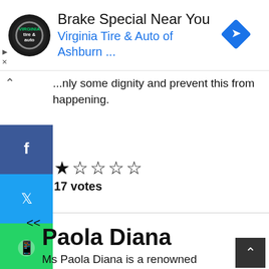[Figure (screenshot): Advertisement banner for Virginia Tire & Auto of Ashburn featuring logo, headline 'Brake Special Near You', subtitle in blue 'Virginia Tire & Auto of Ashburn ...', and a blue diamond navigation arrow icon on the right.]
...nly some dignity and prevent this from happening.
[Figure (other): Star rating display showing 1 filled star and 4 empty stars, with '17 votes' text below.]
<<
Paola Diana
Ms Paola Diana is a renowned women's rights activist bestselling author and female
[Figure (other): Social media sharing sidebar with Facebook (blue), Twitter (light blue), WhatsApp (green), and LinkedIn (dark blue) buttons stacked vertically on the left side.]